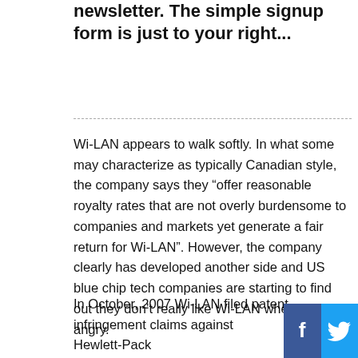newsletter. The simple signup form is just to your right...
Wi-LAN appears to walk softly. In what some may characterize as typically Canadian style, the company says they “offer reasonable royalty rates that are not overly burdensome to companies and markets yet generate a fair return for Wi-LAN”. However, the company clearly has developed another side and US blue chip tech companies are starting to find out they don’t really like Wi-LAN when they are angry.
In October, 2007 Wi-LAN filed patent infringement claims against Hewlett-Packa...
[Figure (other): Social media share buttons: Facebook (dark blue with f icon) and Twitter (light blue with bird icon) at the bottom of the page]